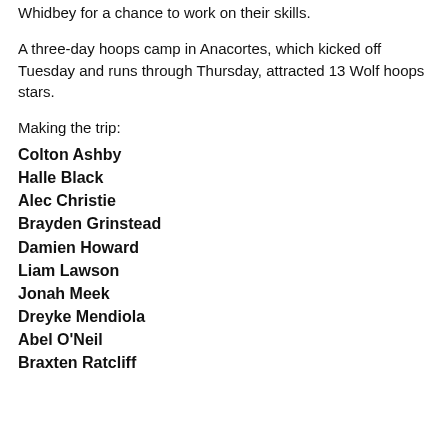Whidbey for a chance to work on their skills.
A three-day hoops camp in Anacortes, which kicked off Tuesday and runs through Thursday, attracted 13 Wolf hoops stars.
Making the trip:
Colton Ashby
Halle Black
Alec Christie
Brayden Grinstead
Damien Howard
Liam Lawson
Jonah Meek
Dreyke Mendiola
Abel O'Neil
Braxten Ratcliff